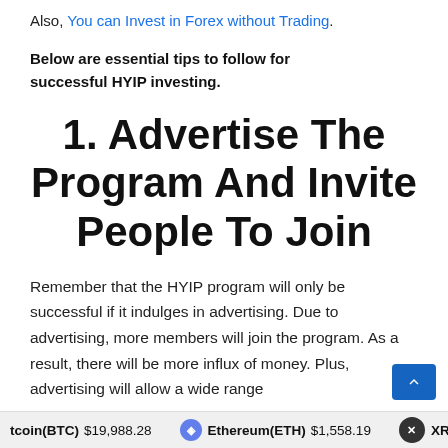Also, You can Invest in Forex without Trading.
Below are essential tips to follow for successful HYIP investing.
1. Advertise The Program And Invite People To Join
Remember that the HYIP program will only be successful if it indulges in advertising. Due to advertising, more members will join the program. As a result, there will be more influx of money. Plus, advertising will allow a wide range
tcoin(BTC) $19,988.28   Ethereum(ETH) $1,558.19   XRP(XR